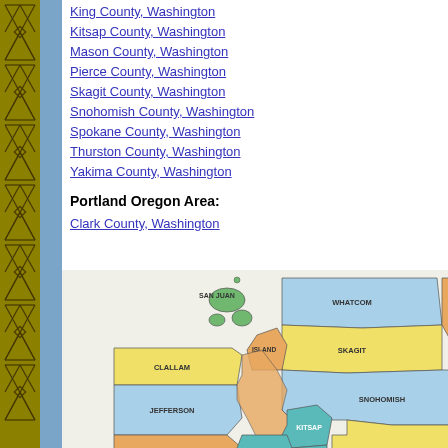King County, Washington
Kitsap County, Washington
Mason County, Washington
Pierce County, Washington
Skagit County, Washington
Snohomish County, Washington
Spokane County, Washington
Thurston County, Washington
Yakima County, Washington
Portland Oregon Area:
Clark County, Washington
[Figure (map): Colored county map of Washington State showing counties including San Juan, Whatcom, Okan (partially visible), Skagit, Island, Snohomish, Chelan, Clallam, Jefferson, Kitsap, King, Kittitas, Grays Harbor, Mason, Pierce, Thurston and more. Counties are colored in yellow, light blue, orange/tan, and green.]